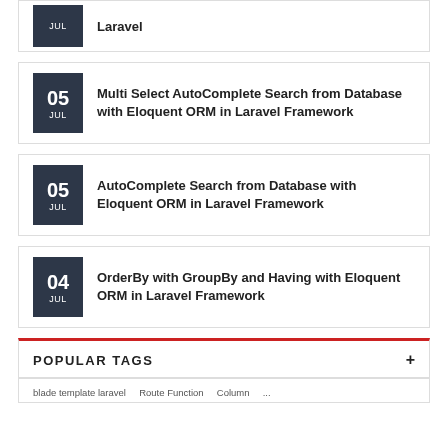Laravel (date: JUL, partial card at top)
05 JUL — Multi Select AutoComplete Search from Database with Eloquent ORM in Laravel Framework
05 JUL — AutoComplete Search from Database with Eloquent ORM in Laravel Framework
04 JUL — OrderBy with GroupBy and Having with Eloquent ORM in Laravel Framework
POPULAR TAGS
blade template laravel   ...   Route Function   ...   Column   ...   ...   ...